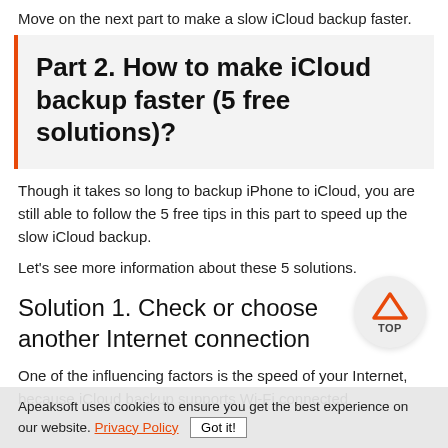Move on the next part to make a slow iCloud backup faster.
Part 2. How to make iCloud backup faster (5 free solutions)?
Though it takes so long to backup iPhone to iCloud, you are still able to follow the 5 free tips in this part to speed up the slow iCloud backup.
Let's see more information about these 5 solutions.
Solution 1. Check or choose another Internet connection
One of the influencing factors is the speed of your Internet, because iCloud backup supports Wi-Fi connected.
Apeaksoft uses cookies to ensure you get the best experience on our website. Privacy Policy  Got it!